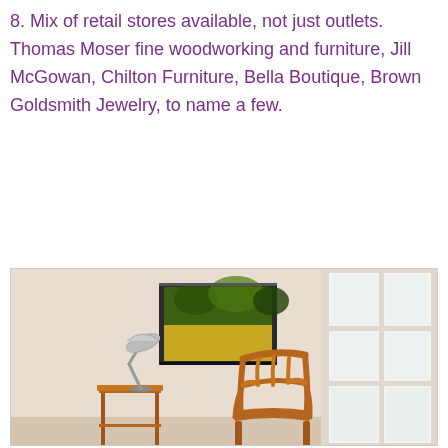8. Mix of retail stores available, not just outlets.  Thomas Moser fine woodworking and furniture, Jill McGowan, Chilton Furniture, Bella Boutique, Brown Goldsmith Jewelry, to name a few.
[Figure (photo): Interior room scene with a wooden chair, small side table with a metal desk lamp, a framed landscape painting on the wall, and a white-trimmed window. Warm beige walls and warm wood tones throughout.]